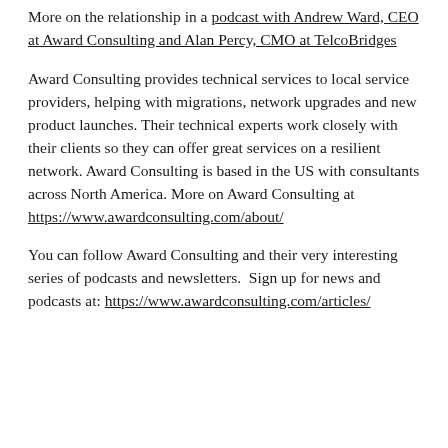More on the relationship in a podcast with Andrew Ward, CEO at Award Consulting and Alan Percy, CMO at TelcoBridges
Award Consulting provides technical services to local service providers, helping with migrations, network upgrades and new product launches. Their technical experts work closely with their clients so they can offer great services on a resilient network. Award Consulting is based in the US with consultants across North America. More on Award Consulting at https://www.awardconsulting.com/about/
You can follow Award Consulting and their very interesting series of podcasts and newsletters.  Sign up for news and podcasts at: https://www.awardconsulting.com/articles/